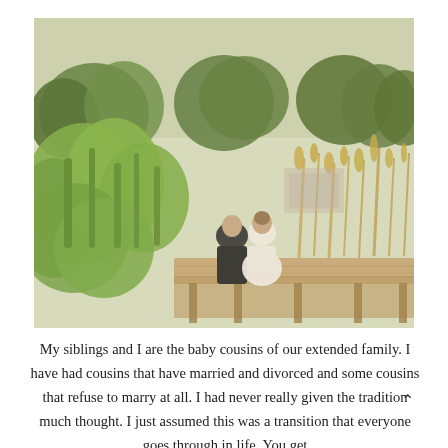[Figure (photo): A wedding couple seen from behind, sitting on a wooden deck/dock surrounded by lush green vegetation and tall grasses, with trees in the background. The photo has a vintage, warm-muted tone. The groom is in dark attire and the bride in a white dress.]
My siblings and I are the baby cousins of our extended family. I have had cousins that have married and divorced and some cousins that refuse to marry at all. I had never really given the tradition much thought. I just assumed this was a transition that everyone goes through in life. You get